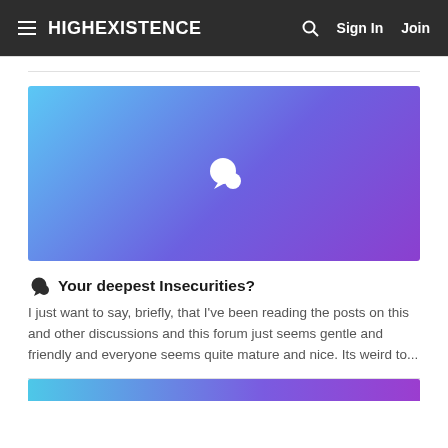HIGHEXISTENCE  Sign In  Join
[Figure (illustration): Gradient banner from blue to purple with a white chat/speech bubble icon in the center]
Your deepest Insecurities?
I just want to say, briefly, that I've been reading the posts on this and other discussions and this forum just seems gentle and friendly and everyone seems quite mature and nice. Its weird to...